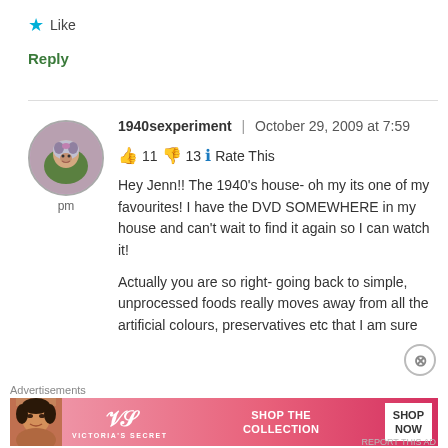★ Like
Reply
[Figure (photo): Circular avatar photo of a woman with gray hair and purple flower crown, outdoors]
pm
1940sexperiment | October 29, 2009 at 7:59
👍 11 👎 13 ℹ Rate This
Hey Jenn!! The 1940's house- oh my its one of my favourites! I have the DVD SOMEWHERE in my house and can't wait to find it again so I can watch it!
Actually you are so right- going back to simple, unprocessed foods really moves away from all the artificial colours, preservatives etc that I am sure
Advertisements
[Figure (infographic): Victoria's Secret advertisement banner: woman's face on left, VS logo in center, SHOP THE COLLECTION text, SHOP NOW button on right, pink/red gradient background]